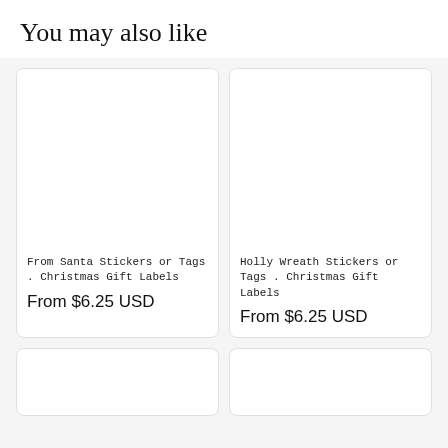You may also like
[Figure (photo): Product image placeholder for From Santa Stickers or Tags Christmas Gift Labels]
From Santa Stickers or Tags . Christmas Gift Labels
From $6.25 USD
[Figure (photo): Product image placeholder for Holly Wreath Stickers or Tags Christmas Gift Labels]
Holly Wreath Stickers or Tags . Christmas Gift Labels
From $6.25 USD
[Figure (photo): Product image placeholder bottom left]
[Figure (photo): Product image placeholder bottom right]